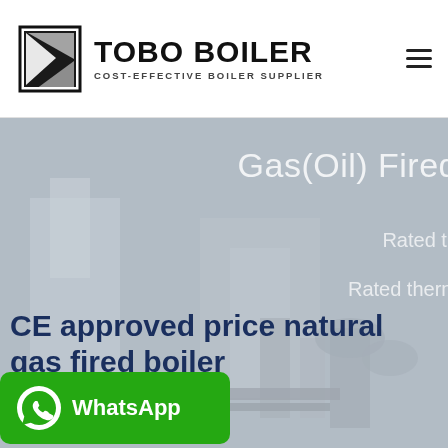[Figure (logo): TOBO BOILER logo with stylized boiler icon on the left, company name in bold black, tagline COST-EFFECTIVE BOILER SUPPLIER below]
[Figure (photo): Hero background image of industrial gas/oil fired boiler equipment in grey tones with partially visible white overlay text reading Gas(Oil) Fired, Rated th..., Rated therm...]
CE approved price natural gas fired boiler
[Figure (other): WhatsApp contact button in green with phone icon and WhatsApp text]